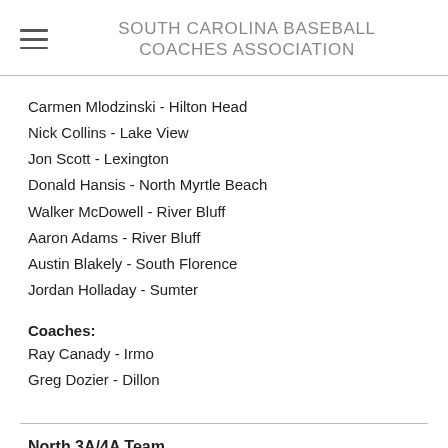SOUTH CAROLINA BASEBALL COACHES ASSOCIATION
Carmen Mlodzinski - Hilton Head
Nick Collins - Lake View
Jon Scott - Lexington
Donald Hansis - North Myrtle Beach
Walker McDowell - River Bluff
Aaron Adams - River Bluff
Austin Blakely - South Florence
Jordan Holladay - Sumter
Coaches:
Ray Canady - Irmo
Greg Dozier - Dillon
North 3A/4A Team